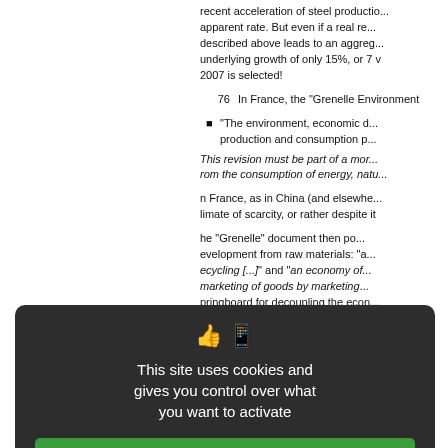recent acceleration of steel production at its apparent rate. But even if a real reduction described above leads to an aggregate underlying growth of only 15%, or 7 v 2007 is selected!
76   In France, the "Grenelle Environment"
"The environment, economic d... production and consumption p..."
This revision must be part of a mo... rom the consumption of energy, natu...
n France, as in China (and elsewhe... limate of scarcity, or rather despite it
The "Grenelle" document then po... evelopment from raw materials: "a... ecycling [...]" and "an economy of... marketing of goods by marketing... pringboard for decoupling the econ... is not for China (on a different scale
n the final analysis, to reconcile sus... he scarcity of resources, two suc... vorldwide, not just one:
[Figure (screenshot): Cookie consent popup overlay with dark background. Shows thumbs up and mobile phone icons. Text: 'This site uses cookies and gives you control over what you want to activate'. Three buttons: green 'OK, accept all', red 'Deny all cookies', white 'Personalize'. Link: 'Privacy policy'.]